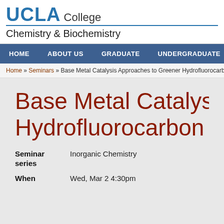UCLA College Chemistry & Biochemistry
HOME | ABOUT US | GRADUATE | UNDERGRADUATE | FACULTY
Home » Seminars » Base Metal Catalysis Approaches to Greener Hydrofluorocarbon Syn...
Base Metal Catalysis Approaches to Greener Hydrofluorocarbon Synthesis
| Field | Value |
| --- | --- |
| Seminar series | Inorganic Chemistry |
| When | Wed, Mar 2 4:30pm |